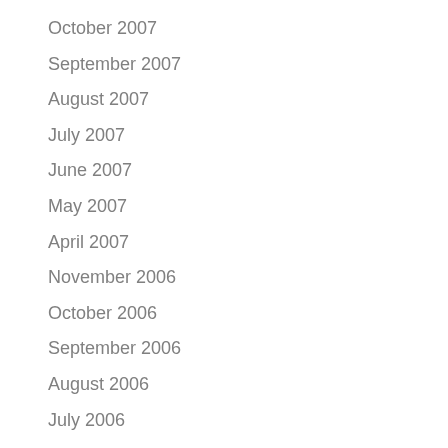October 2007
September 2007
August 2007
July 2007
June 2007
May 2007
April 2007
November 2006
October 2006
September 2006
August 2006
July 2006